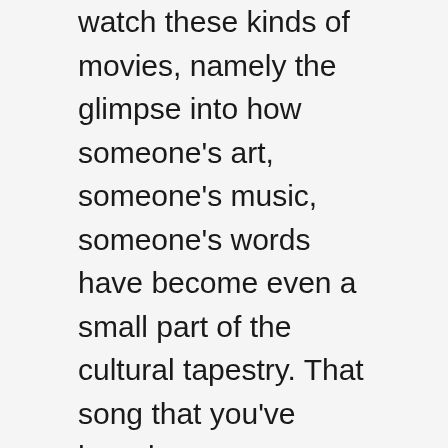watch these kinds of movies, namely the glimpse into how someone's art, someone's music, someone's words have become even a small part of the cultural tapestry. That song that you've heard or sung hundreds of times had a beginning, a birth, one nurtured through an oft-grueling process.  Often such songs (or books or movies or paintings or poems, etc) end up much different in their final form than they started, being shaped by a fascinating creative process.

Sometimes a song starts as a chord that a guitar player can't shake, or a phrase that a songwriter finds profound.  Sometimes a beloved international smash hit or a culture-shaping anthem was originally intended to just be an album